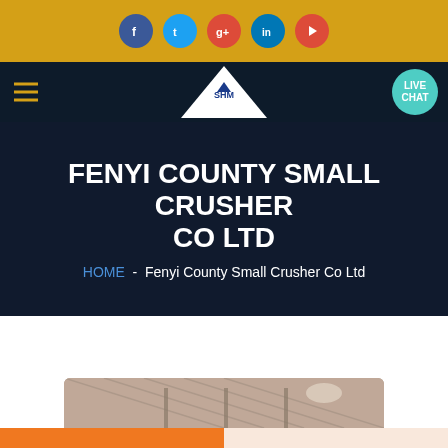[Figure (screenshot): Top golden navigation bar with social media icons: Facebook (blue), Twitter (blue), Google+ (red), LinkedIn (blue), YouTube (red)]
[Figure (screenshot): Dark navy navigation bar with hamburger menu icon (gold lines), SHM diamond logo in center, and LIVE CHAT teal circular button on right]
FENYI COUNTY SMALL CRUSHER CO LTD
HOME  -  Fenyi County Small Crusher Co Ltd
[Figure (photo): Partial view of factory/warehouse interior with metal roof structure]
Get a Quote
WhatsApp